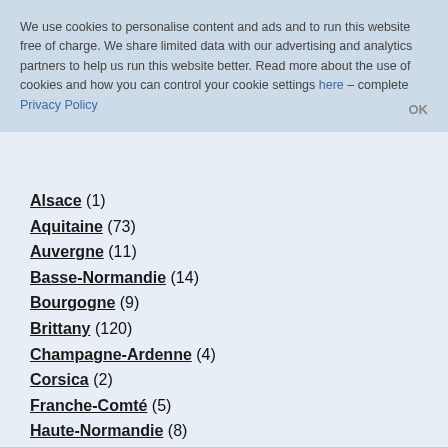We use cookies to personalise content and ads and to run this website free of charge. We share limited data with our advertising and analytics partners to help us run this website better. Read more about the use of cookies and how you can control your cookie settings here – complete Privacy Policy   OK
Alsace (1)
Aquitaine (73)
Auvergne (11)
Basse-Normandie (14)
Bourgogne (9)
Brittany (120)
Champagne-Ardenne (4)
Corsica (2)
Franche-Comté (5)
Haute-Normandie (8)
Île-de-France (36)
Languedoc-Roussillon (51)
Limousin (1)
Lorraine (2)
Midi-Pyrénées (42)
Nord-Pas-de-Calais (12)
Pays de la Loire (58)
Picardie (2)
Poitou-Charentes (8)
Provence-Alpes-Côte d Azur (177)
Rhône-Alpes (93)